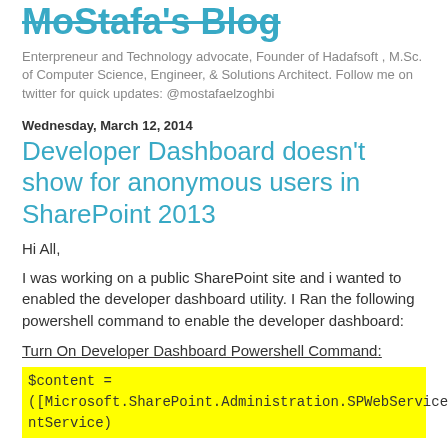MoStafa's Blog
Enterpreneur and Technology advocate, Founder of Hadafsoft , M.Sc. of Computer Science, Engineer, & Solutions Architect. Follow me on twitter for quick updates: @mostafaelzoghbi
Wednesday, March 12, 2014
Developer Dashboard doesn't show for anonymous users in SharePoint 2013
Hi All,
I was working on a public SharePoint site and i wanted to enabled the developer dashboard utility. I Ran the following powershell command to enable the developer dashboard:
Turn On Developer Developer Dashboard Powershell Command:
$content = 
([Microsoft.SharePoint.Administration.SPWebService]::ContentService)